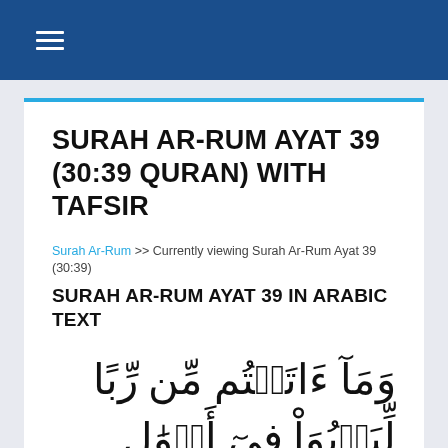☰ (hamburger menu icon)
SURAH AR-RUM AYAT 39 (30:39 QURAN) WITH TAFSIR
Surah Ar-Rum >> Currently viewing Surah Ar-Rum Ayat 39 (30:39)
SURAH AR-RUM AYAT 39 IN ARABIC TEXT
وَمَآ ءَاتَيۡتُم مِّن رِّبًا لِّيَرۡبُوَاْ فِىٓ أَمۡوَٰلِ